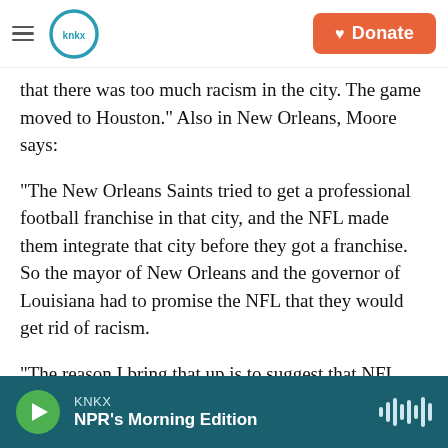KNKX | Donate
that there was too much racism in the city. The game moved to Houston." Also in New Orleans, Moore says:
"The New Orleans Saints tried to get a professional football franchise in that city, and the NFL made them integrate that city before they got a franchise. So the mayor of New Orleans and the governor of Louisiana had to promise the NFL that they would get rid of racism.
"The reason I bring that up is to suggest that NFL organizations and teams, if they wanted to, could do something about racism in their cities."
KNKX — NPR's Morning Edition